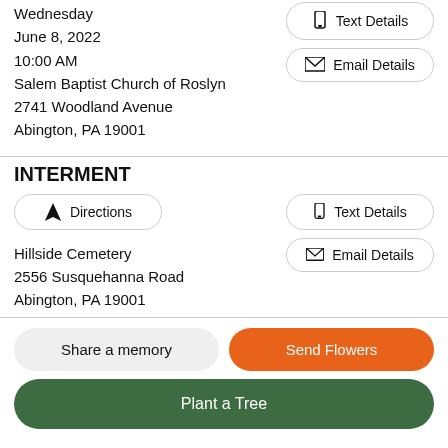Wednesday
June 8, 2022
10:00 AM
Salem Baptist Church of Roslyn
2741 Woodland Avenue
Abington, PA 19001
INTERMENT
Hillside Cemetery
2556 Susquehanna Road
Abington, PA 19001
Share a memory
Send Flowers
Plant a Tree